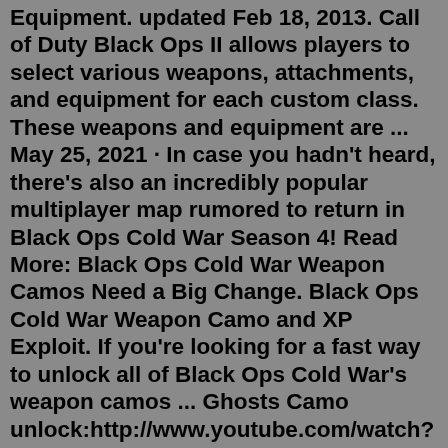Equipment. updated Feb 18, 2013. Call of Duty Black Ops II allows players to select various weapons, attachments, and equipment for each custom class. These weapons and equipment are ... May 25, 2021 · In case you hadn't heard, there's also an incredibly popular multiplayer map rumored to return in Black Ops Cold War Season 4! Read More: Black Ops Cold War Weapon Camos Need a Big Change. Black Ops Cold War Weapon Camo and XP Exploit. If you're looking for a fast way to unlock all of Black Ops Cold War's weapon camos ... Ghosts Camo unlock:http://www.youtube.com/watch?v=ll6dm0AwTocHey I just met you & this is crazy,But click the like button, & subscribe to me maybe? Like/disli... 🈳🈳13🈳🈳🈳🈳🈳COD BO2🈳🈳🈳🈳🈳🈳🈳🈳🎵🈳🈳🈳🈳🈳🈳🈳🈳🈳🈳🈳🈳🈳🈳🈳🈳🈳🈳🈳🈳🈳🈳🈳🈳🈳🈳🈳🈳🈳🈳 ... Call of Duty: Modern Warfare 2; Call of Duty: Black Ops; Call of Duty: Black Ops (DS) Call of Duty: Modern Warfare 3; Call of Duty: Black Ops II; Call of Duty: Ghosts; Call of Duty: Advanced Warfare; Call of Duty: Black Ops III; Call of Duty: Infinite Warfare; Perk-a-Colas